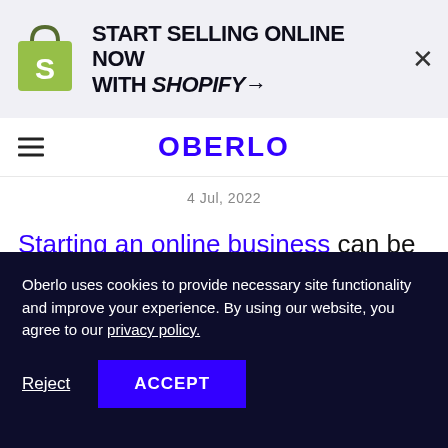[Figure (other): Shopify ad banner with Shopify bag logo, text 'START SELLING ONLINE NOW WITH SHOPIFY→', and a close X button]
OBERLO
4 Jul, 2022
Starting an online business can be intimidating. There are so many things you have to deal with like how to...
Oberlo uses cookies to provide necessary site functionality and improve your experience. By using our website, you agree to our privacy policy.
Reject   ACCEPT